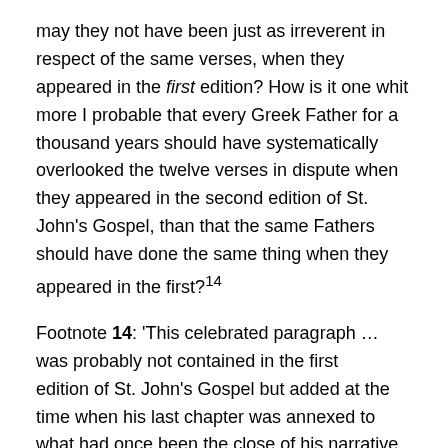may they not have been just as irreverent in respect of the same verses, when they appeared in the first edition? How is it one whit more I probable that every Greek Father for a thousand years should have systematically overlooked the twelve verses in dispute when they appeared in the second edition of St. John's Gospel, than that the same Fathers should have done the same thing when they appeared in the first?14
Footnote 14: 'This celebrated paragraph … was probably not contained in the first edition of St. John's Gospel but added at the time when his last chapter was annexed to what had once been the close of his narrative,—xx. 30, 31.' Scrivener's Introduction to Cod. D, p. 5o.
(4) But the hypothesis is gratuitous and nugatory: for it has